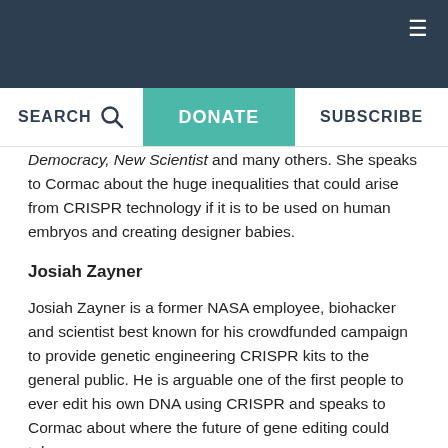Democracy, New Scientist and many others. She speaks to Cormac about the huge inequalities that could arise from CRISPR technology if it is to be used on human embryos and creating designer babies.
Josiah Zayner
Josiah Zayner is a former NASA employee, biohacker and scientist best known for his crowdfunded campaign to provide genetic engineering CRISPR kits to the general public. He is arguable one of the first people to ever edit his own DNA using CRISPR and speaks to Cormac about where the future of gene editing could take us.
Follow him on Twitter here .
Dr Vincent Kelly